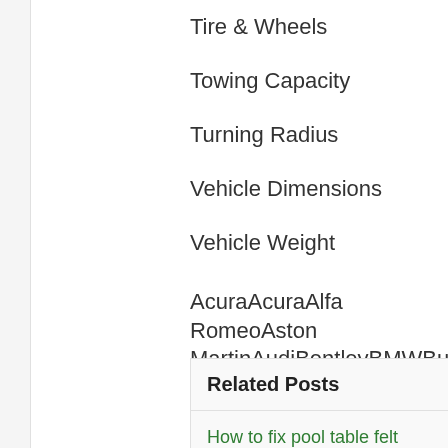Tire & Wheels
Towing Capacity
Turning Radius
Vehicle Dimensions
Vehicle Weight
AcuraAcuraAlfa RomeoAston MartinAudiBentleyBMWBuickCadillacRoverLexusLincolnLotusMaseratiMayRoyceSaabSaturnScionsmartSubaruS
Related Posts
How to fix pool table felt
John deere 4430 hydraulic oil cap
How far is it from montgomery ala